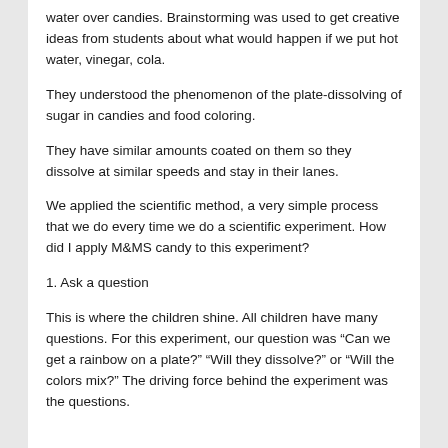water over candies. Brainstorming was used to get creative ideas from students about what would happen if we put hot water, vinegar, cola.
They understood the phenomenon of the plate-dissolving of sugar in candies and food coloring.
They have similar amounts coated on them so they dissolve at similar speeds and stay in their lanes.
We applied the scientific method, a very simple process that we do every time we do a scientific experiment. How did I apply M&MS candy to this experiment?
1. Ask a question
This is where the children shine. All children have many questions. For this experiment, our question was “Can we get a rainbow on a plate?” “Will they dissolve?” or “Will the colors mix?” The driving force behind the experiment was the questions.